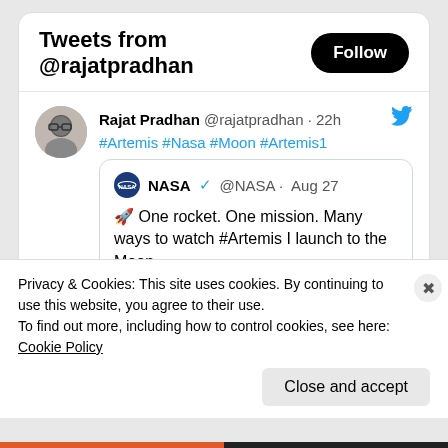Tweets from @rajatpradhan
Rajat Pradhan @rajatpradhan · 22h
#Artemis #Nasa #Moon #Artemis1
NASA @NASA · Aug 27
🚀 One rocket. One mission. Many ways to watch #Artemis I launch to the Moon.

See the thread for simulcasts, including how to watch in 4K. Pick your favorite,...
Privacy & Cookies: This site uses cookies. By continuing to use this website, you agree to their use.
To find out more, including how to control cookies, see here: Cookie Policy